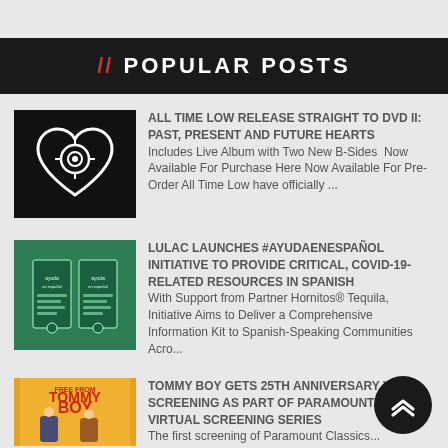// POPULAR POSTS
[Figure (photo): All Time Low Straight to DVD II album cover - black background with white heart containing eye design]
ALL TIME LOW RELEASE STRAIGHT TO DVD II: PAST, PRESENT AND FUTURE HEARTS Includes Live Album with Two New B-Sides  Now Available For Purchase Here Now Available For Pre-Order All Time Low have officially ...
[Figure (photo): LULAC #AyudaEnEspañol initiative - green booklets/pamphlets]
LULAC LAUNCHES #AYUDAENESPAÑOL INITIATIVE TO PROVIDE CRITICAL, COVID-19-RELATED RESOURCES IN SPANISH With Support from Partner Hornitos® Tequila, Initiative Aims to Deliver a Comprehensive Information Kit to Spanish-Speaking Communities Acro...
[Figure (photo): Tommy Boy 25th Anniversary movie poster - yellow background with characters]
TOMMY BOY GETS 25TH ANNIVERSARY VIR SCREENING AS PART OF PARAMOUNT PIC VIRTUAL SCREENING SERIES The first screening of Paramount Classics...